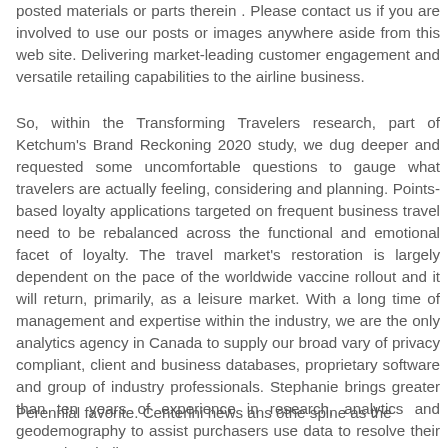posted materials or parts therein . Please contact us if you are involved to use our posts or images anywhere aside from this web site. Delivering market-leading customer engagement and versatile retailing capabilities to the airline business.
So, within the Transforming Travelers research, part of Ketchum's Brand Reckoning 2020 study, we dug deeper and requested some uncomfortable questions to gauge what travelers are actually feeling, considering and planning. Points-based loyalty applications targeted on frequent business travel need to be rebalanced across the functional and emotional facet of loyalty. The travel market's restoration is largely dependent on the pace of the worldwide vaccine rollout and it will return, primarily, as a leisure market. With a long time of management and expertise within the industry, we are the only analytics agency in Canada to supply our broad vary of privacy compliant, client and business databases, proprietary software and group of industry professionals. Stephanie brings greater than ten years of experience in research, analytics and geodemography to assist purchasers use data to resolve their enterprise challenges.
Perennial favorite. Centerini news ans othe spine as the